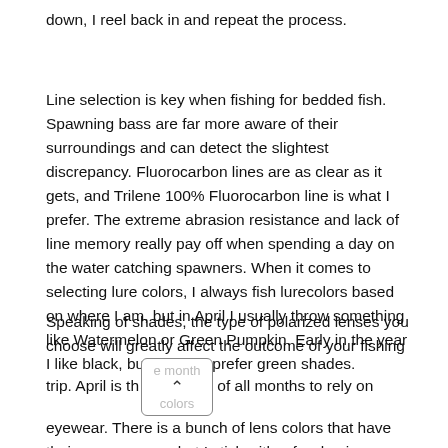down, I reel back in and repeat the process.
Line selection is key when fishing for bedded fish. Spawning bass are far more aware of their surroundings and can detect the slightest discrepancy. Fluorocarbon lines are as clear as it gets, and Trilene 100% Fluorocarbon line is what I prefer. The extreme abrasion resistance and lack of line memory really pay off when spending a day on the water catching spawners. When it comes to selecting lure colors, I always fish lurecolors based on where I am, but in April I usually throw something like Watermelon or Green Pumpkin. Early in the year I like black, but in April I prefer green shades.
Speaking of shades, the type of polarized lenses you choose will greatly affect the outcome of your fishing trip. April is the month of all months to rely on eyewear. There is a bunch of lens colors that have their own purpose, but I stick with a few basic principles. If the weather presents a bluebird day I like to go